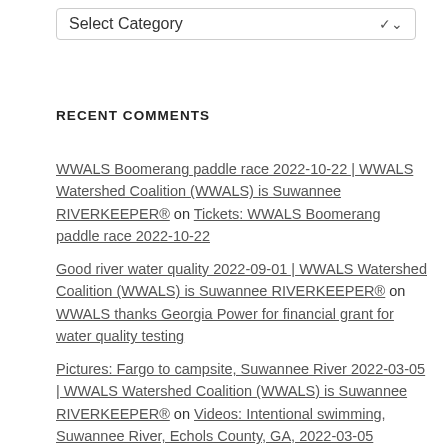[Figure (other): Dropdown widget labeled 'Select Category' with a chevron arrow]
RECENT COMMENTS
WWALS Boomerang paddle race 2022-10-22 | WWALS Watershed Coalition (WWALS) is Suwannee RIVERKEEPER® on Tickets: WWALS Boomerang paddle race 2022-10-22
Good river water quality 2022-09-01 | WWALS Watershed Coalition (WWALS) is Suwannee RIVERKEEPER® on WWALS thanks Georgia Power for financial grant for water quality testing
Pictures: Fargo to campsite, Suwannee River 2022-03-05 | WWALS Watershed Coalition (WWALS) is Suwannee RIVERKEEPER® on Videos: Intentional swimming, Suwannee River, Echols County, GA, 2022-03-05
Videos: Pictures: Fargo to campsite, Suwannee River 2022-03-05 | WWALS Watershed Coalition (WWALS) is Suwannee RIVERKEEPER® on Pictures: Fargo to campsite, Suwannee River